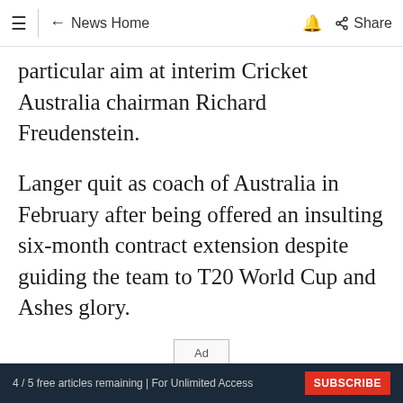≡  ← News Home  🔔  Share
particular aim at interim Cricket Australia chairman Richard Freudenstein.
Langer quit as coach of Australia in February after being offered an insulting six-month contract extension despite guiding the team to T20 World Cup and Ashes glory.
ADVERTISEMENT
4 / 5 free articles remaining | For Unlimited Access  SUBSCRIBE